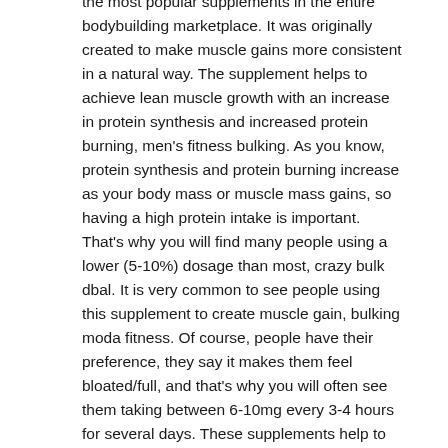the most popular supplements in the entire bodybuilding marketplace. It was originally created to make muscle gains more consistent in a natural way. The supplement helps to achieve lean muscle growth with an increase in protein synthesis and increased protein burning, men's fitness bulking. As you know, protein synthesis and protein burning increase as your body mass or muscle mass gains, so having a high protein intake is important. That's why you will find many people using a lower (5-10%) dosage than most, crazy bulk dbal. It is very common to see people using this supplement to create muscle gain, bulking moda fitness. Of course, people have their preference, they say it makes them feel bloated/full, and that's why you will often see them taking between 6-10mg every 3-4 hours for several days. These supplements help to achieve bodybuilding gains.